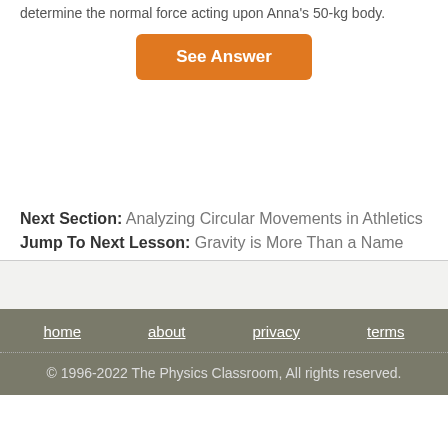determine the normal force acting upon Anna's 50-kg body.
See Answer
Next Section: Analyzing Circular Movements in Athletics
Jump To Next Lesson: Gravity is More Than a Name
home   about   privacy   terms
© 1996-2022 The Physics Classroom, All rights reserved.